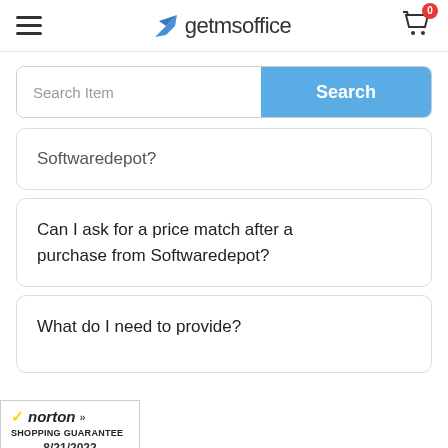getmsoffice
[Figure (screenshot): Search bar with placeholder 'Search Item' and blue 'Search' button]
Softwaredepot?
Can I ask for a price match after a purchase from Softwaredepot?
What do I need to provide?
[Figure (logo): Norton Shopping Guarantee badge dated 8/21/2022]